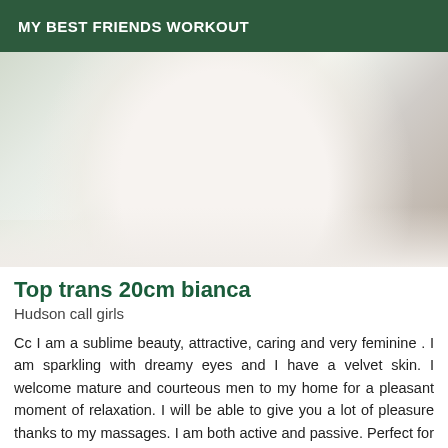MY BEST FRIENDS WORKOUT
[Figure (photo): A person wrapped in a white towel or sheet, seated, with a decorative window or balcony visible in the background on the left side.]
Top trans 20cm bianca
Hudson call girls
Cc I am a sublime beauty, attractive, caring and very feminine . I am sparkling with dreamy eyes and I have a velvet skin. I welcome mature and courteous men to my home for a pleasant moment of relaxation. I will be able to give you a lot of pleasure thanks to my massages. I am both active and passive. Perfect for beginners. I will